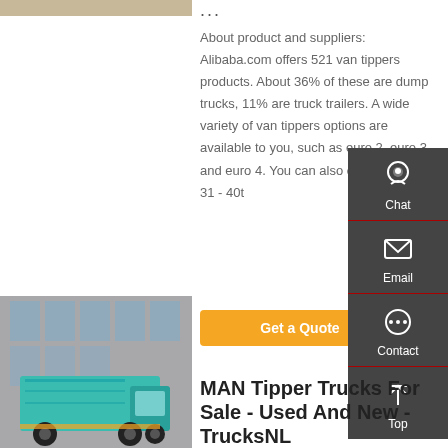[Figure (photo): Partial tan/beige image bar at top left]
...
About product and suppliers: Alibaba.com offers 521 van tippers products. About 36% of these are dump trucks, 11% are truck trailers. A wide variety of van tippers options are available to you, such as euro 2, euro 3 and euro 4. You can also choose from 31 - 40t
[Figure (infographic): Side chat/email/contact/top navigation panel on dark gray background with icons for Chat, Email, Contact, and Top]
[Figure (photo): Teal/cyan MAN tipper truck parked in front of a glass building]
MAN Tipper Trucks For Sale - Used And New - TrucksNL